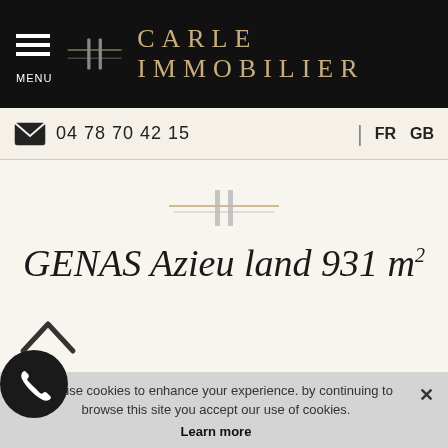[Figure (logo): Carle Immobilier header logo with menu icon and brand name in dark background]
04 78 70 42 15 | FR GB
[Figure (logo): Carle Immobilier decorative logo mark in the center of the page]
GENAS Azieu land 931 m²
PREVIOUS PAGE
We use cookies to enhance your experience. by continuing to browse this site you accept our use of cookies. Learn more